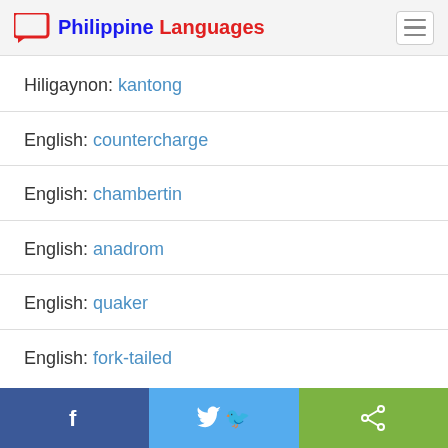Philippine Languages
Hiligaynon: kantong
English: countercharge
English: chambertin
English: anadrom
English: quaker
English: fork-tailed
Facebook | Twitter | Share